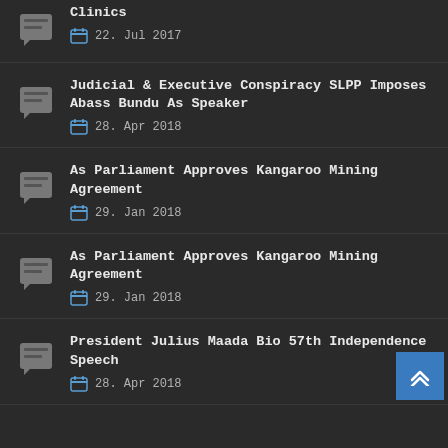Clinics
22. Jul 2017
Judicial & Executive Conspiracy SLPP Imposes Abass Bundu As Speaker
28. Apr 2018
As Parliament Approves Kangaroo Mining Agreement
29. Jan 2018
As Parliament Approves Kangaroo Mining Agreement
29. Jan 2018
President Julius Maada Bio 57th Independence Speech
28. Apr 2018